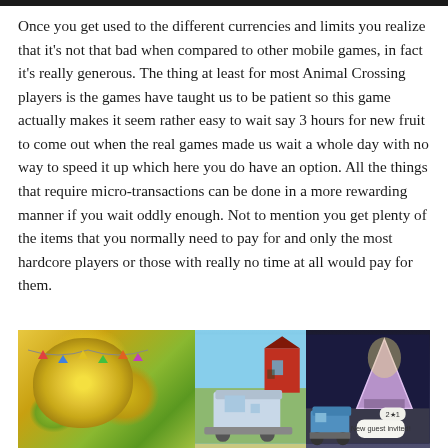Once you get used to the different currencies and limits you realize that it's not that bad when compared to other mobile games, in fact it's really generous. The thing at least for most Animal Crossing players is the games have taught us to be patient so this game actually makes it seem rather easy to wait say 3 hours for new fruit to come out when the real games made us wait a whole day with no way to speed it up which here you do have an option. All the things that require micro-transactions can be done in a more rewarding manner if you wait oddly enough. Not to mention you get plenty of the items that you normally need to pay for and only the most hardcore players or those with really no time at all would pay for them.
[Figure (screenshot): Screenshot from Animal Crossing: Pocket Camp mobile game showing a campsite with a decorated tree with bunting, a white camper trailer, a red barn, a blue van, a glowing tent at night, and a notification bubble saying 'New guest invited!']